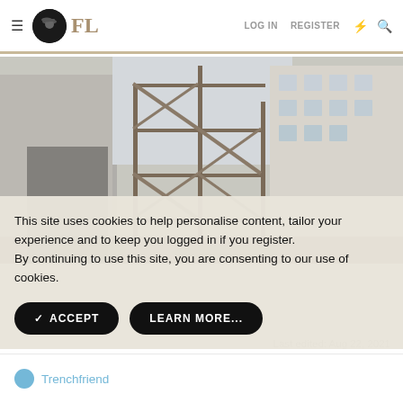≡ FL | LOG IN  REGISTER
[Figure (photo): Construction site photo showing metal scaffolding/steel frame structure in front of a multi-story white building under construction or renovation, with rubble on the ground.]
This site uses cookies to help personalise content, tailor your experience and to keep you logged in if you register.
By continuing to use this site, you are consenting to our use of cookies.
✓ ACCEPT    LEARN MORE...
Last edited: Aug 22, 2021
Trenchfriend